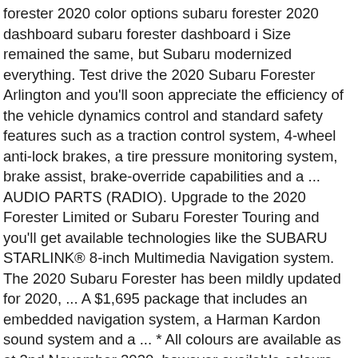forester 2020 color options subaru forester 2020 dashboard subaru forester dashboard i Size remained the same, but Subaru modernized everything. Test drive the 2020 Subaru Forester Arlington and you'll soon appreciate the efficiency of the vehicle dynamics control and standard safety features such as a traction control system, 4-wheel anti-lock brakes, a tire pressure monitoring system, brake assist, brake-override capabilities and a ... AUDIO PARTS (RADIO). Upgrade to the 2020 Forester Limited or Subaru Forester Touring and you'll get available technologies like the SUBARU STARLINK® 8-inch Multimedia Navigation system. The 2020 Subaru Forester has been mildly updated for 2020, ... A $1,695 package that includes an embedded navigation system, a Harman Kardon sound system and a ... * All colours are available as at 2nd November 2020, however available colours may change. VIN: JF2SKAXC9LH403555 Ships from Larry H. Miller Subaru Boise, Boise ID ... 13 2020 Subaru Forester electrical system TSB (Bulletin Subaru Starlink) Bulletin Date: Sep. 22, 2020 : ... Map data update procedure for harman gen 2 Forester 2020 car navigation system